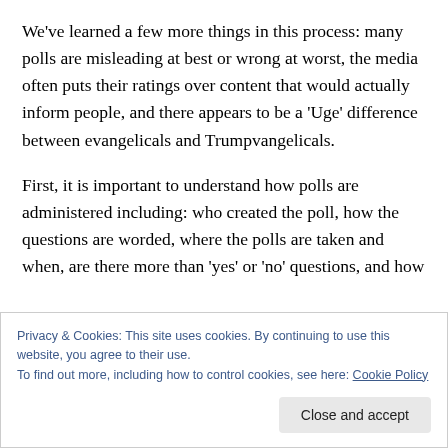We've learned a few more things in this process: many polls are misleading at best or wrong at worst, the media often puts their ratings over content that would actually inform people, and there appears to be a ‘Uge’ difference between evangelicals and Trumpvangelicals.
First, it is important to understand how polls are administered including: who created the poll, how the questions are worded, where the polls are taken and when, are there more than ‘yes’ or ‘no’ questions, and how
Privacy & Cookies: This site uses cookies. By continuing to use this website, you agree to their use.
To find out more, including how to control cookies, see here: Cookie Policy